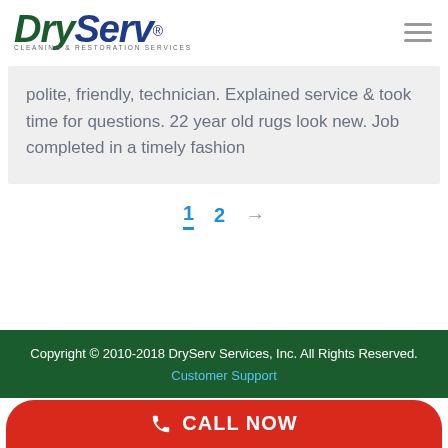[Figure (logo): DryServ Cleaning & Restoration Services logo with green 'Dry' and blue 'Serv' italic text]
polite, friendly, technician. Explained service & took time for questions. 22 year old rugs look new. Job completed in a timely fashion
1  2  →
Copyright © 2010-2018 DryServ Services, Inc. All Rights Reserved. Customer Support
CALL NOW